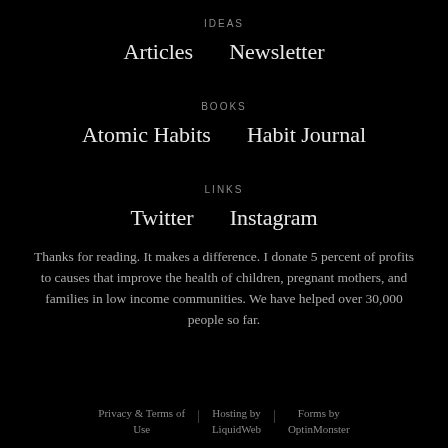IDEAS
Articles
Newsletter
BOOKS
Atomic Habits
Habit Journal
LINKS
Twitter
Instagram
Thanks for reading. It makes a difference. I donate 5 percent of profits to causes that improve the health of children, pregnant mothers, and families in low income communities. We have helped over 30,000 people so far.
Privacy & Terms of Use  |  Hosting by LiquidWeb  |  Forms by OptinMonster